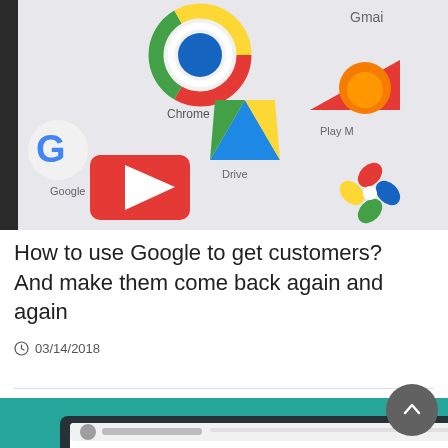[Figure (photo): Close-up photo of a smartphone screen showing Google app icons: Google, Chrome, Gmail, Drive, YouTube, Play, and Google Photos icons on a light gray background.]
How to use Google to get customers? And make them come back again and again
03/14/2018
[Figure (illustration): Flat design illustration of a laptop/monitor on a teal background showing a simplified web browser with placeholder content blocks in teal, orange, and gray colors.]